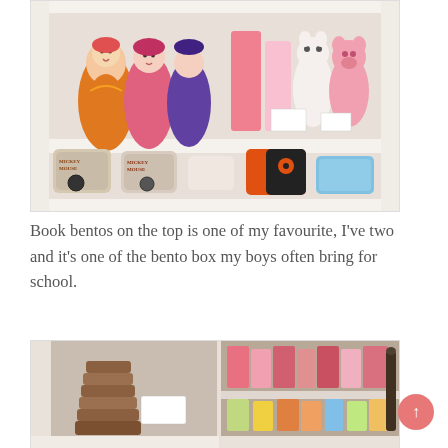[Figure (photo): White shelf displaying colorful items: top shelf has matryoshka doll-shaped items in orange, pink, and other colors, plus animal-shaped white and pink figurines; bottom shelf shows vintage Mickey Mouse tins and other bento boxes in red, orange, blue.]
Book bentos on the top is one of my favourite, I've two and it's one of the bento box my boys often bring for school.
[Figure (photo): Two-panel photo showing store shelves: left panel displays wooden/stacked cylindrical items on a shelf, right panel shows colorful packaged goods in pink and other colors on shelves.]